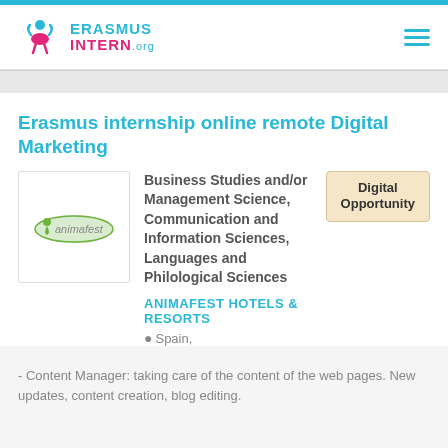ERASMUS INTERN .org
Erasmus internship online remote Digital Marketing
Digital Opportunity
[Figure (logo): Animafest Hotels & Resorts company logo — green oval with 'animafest' text]
Business Studies and/or Management Science, Communication and Information Sciences, Languages and Philological Sciences
ANIMAFEST HOTELS & RESORTS
Spain,
- Content Manager: taking care of the content of the web pages. New updates, content creation, blog editing.